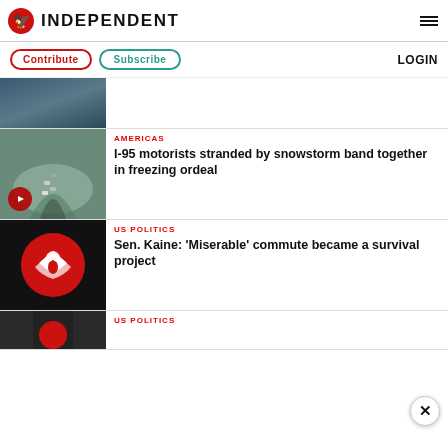INDEPENDENT
Contribute  Subscribe  LOGIN
[Figure (photo): Partial view of a news article image showing a crowd scene]
AMERICAS
I-95 motorists stranded by snowstorm band together in freezing ordeal
[Figure (photo): Aerial view of cars stranded on I-95 highway in snow, with video play button]
US POLITICS
Sen. Kaine: 'Miserable' commute became a survival project
[Figure (logo): Independent logo - white eagle on red circle on black background]
US POLITICS
[Figure (photo): Partial bottom of page article image]